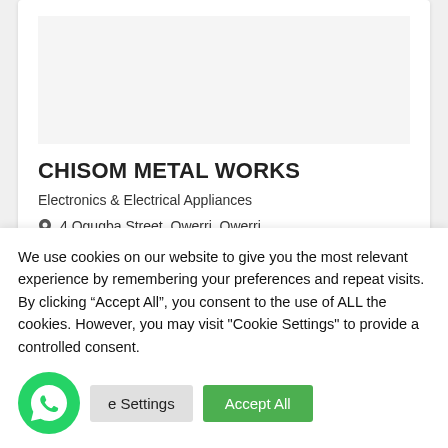CHISOM METAL WORKS
Electronics & Electrical Appliances
4 Ogugba Street, Owerri, Owerri
070 1315 2921 / 080 6344 2271
We use cookies on our website to give you the most relevant experience by remembering your preferences and repeat visits. By clicking “Accept All”, you consent to the use of ALL the cookies. However, you may visit "Cookie Settings" to provide a controlled consent.